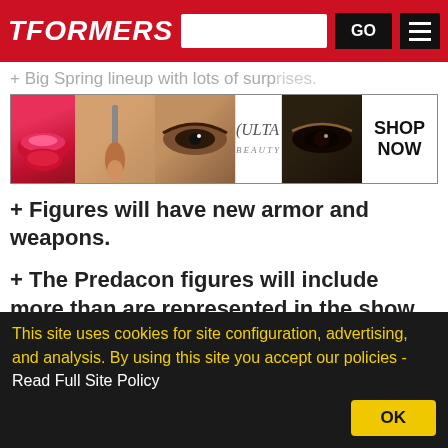TFORMERS
[Figure (infographic): ULTA Beauty advertisement banner showing makeup images and SHOP NOW button]
+ Big Spring lineup with lots of surprises.
+ Figures will have new armor and weapons.
+ The Predacon figures will include more than are represented in the show.
Leg
[Figure (infographic): MAC cosmetics advertisement banner showing lipsticks and SHOP NOW button with CLOSE button]
Bumblebee with Hawkbow
This site uses cookies for site configuration, advertising, and analysis. By using this site you accept our policies - Read Full Site Policy
OK